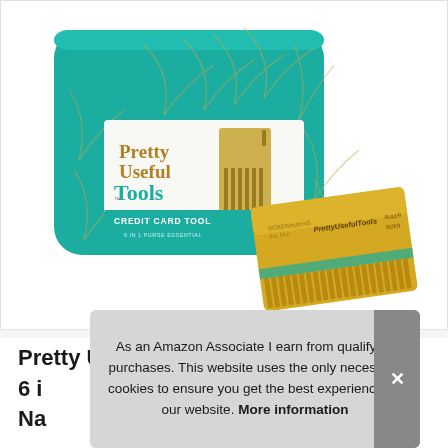[Figure (photo): Product photo showing a teal/green tin box with gold botanical leaf pattern labeled 'Pretty Useful Tools CREDIT CARD TOOL 6 IN 1 PURSE ESSENTIAL', and beside it a gold-colored credit card sized multi-tool with comb teeth at the bottom and 'PrettyUsefulTools' branding.]
Pr...
6 i...
Na...
As an Amazon Associate I earn from qualifying purchases. This website uses the only necessary cookies to ensure you get the best experience on our website. More information